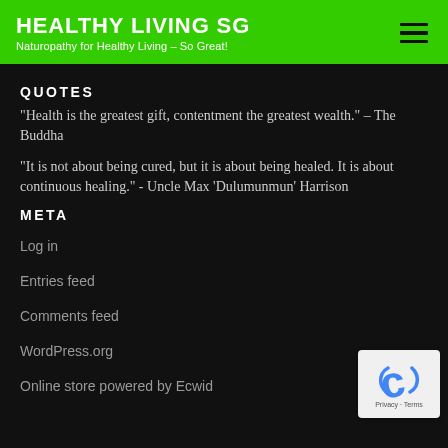HEALTHY LIVING SG
Naturopathy for Healthy Living – So Great!
QUOTES
“Health is the greatest gift, contentment the greatest wealth.” – The Buddha
"It is not about being cured, but it is about being healed. It is about continuous healing." - Uncle Max ‘Dulumunmun’ Harrison
META
Log in
Entries feed
Comments feed
WordPress.org
Online store powered by Ecwid
[Figure (logo): reCAPTCHA badge with blue C logo and Privacy - Terms text]